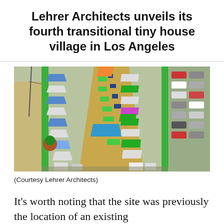Lehrer Architects unveils its fourth transitional tiny house village in Los Angeles
[Figure (photo): Aerial view of a transitional tiny house village in Los Angeles, showing rows of small colorful structures with blue, green, white, and orange roofs arranged along a central pathway, enclosed by green walls, with a parking lot visible to the right and sandy ground to the left.]
(Courtesy Lehrer Architects)
It's worth noting that the site was previously the location of an existing